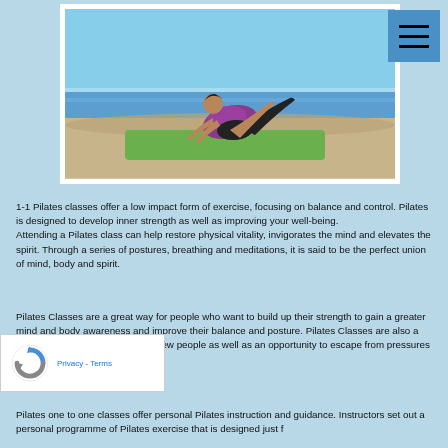[Figure (photo): Woman performing a Pilates exercise (boat pose variation) on a green mat on a beach, with blue sky and ocean in the background.]
1-1 Pilates classes offer a low impact form of exercise, focusing on balance and control. Pilates is designed to develop inner strength as well as improving your well-being.
Attending a Pilates class can help restore physical vitality, invigorates the mind and elevates the spirit. Through a series of postures, breathing and meditations, it is said to be the perfect union of mind, body and spirit.
Pilates Classes are a great way for people who want to build up their strength to gain a greater mind and body awareness and improve their balance and posture. Pilates Classes are also a great way to have fun and meet new people as well as an opportunity to escape from pressures at work or home.
Pilates one to one classes offer personal Pilates instruction and guidance. Instructors set out a personal programme of Pilates exercise that is designed just f...